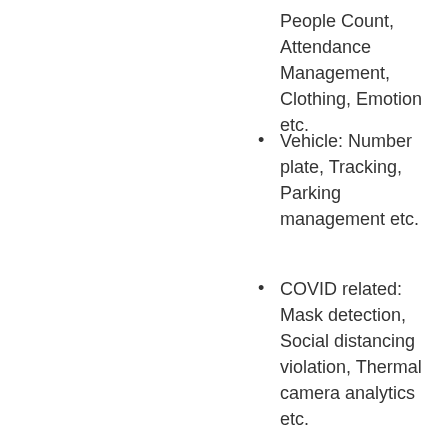People Count, Attendance Management, Clothing, Emotion etc.
Vehicle: Number plate, Tracking, Parking management etc.
COVID related: Mask detection, Social distancing violation, Thermal camera analytics etc.